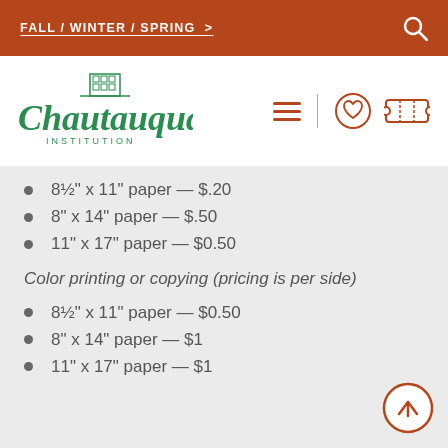FALL / WINTER / SPRING >
[Figure (logo): Chautauqua Institution logo in green script with building illustration]
8½" x 11" paper — $.20
8" x 14" paper — $.50
11" x 17" paper — $0.50
Color printing or copying (pricing is per side)
8½" x 11" paper — $0.50
8" x 14" paper — $1
11" x 17" paper — $1